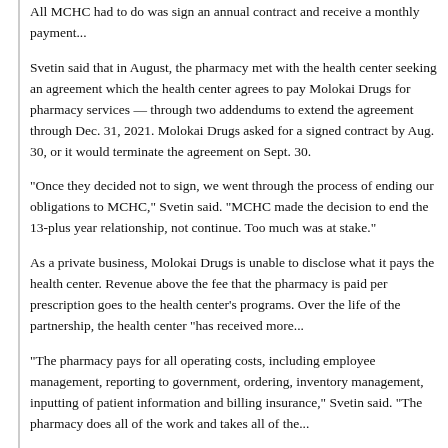All MCHC had to do was sign an annual contract and receive a monthly payment...
Svetin said that in August, the pharmacy met with the health center seeking an agreement which the health center agrees to pay Molokai Drugs for pharmacy services — through two addendums to extend the agreement through Dec. 31, 2021. Molokai Drugs asked for a signed contract by Aug. 30, or it would terminate the agreement on Sept. 30.
“Once they decided not to sign, we went through the process of ending our obligations to MCHC,” Svetin said. “MCHC made the decision to end the 13-plus year relationship, not continue. Too much was at stake.”
As a private business, Molokai Drugs is unable to disclose what it pays the health center. Revenue above the fee that the pharmacy is paid per prescription goes to the health center's programs. Over the life of the partnership, the health center “has received more...
“The pharmacy pays for all operating costs, including employee management, reporting to government, ordering, inventory management, inputting of patient information and billing insurance,” Svetin said. “The pharmacy does all of the work and takes all of the...
Svetin said the health center attempted to renegotiate with the pharmacy only once. She said Wescoatt told them that the health center would be requiring a competitive bid and hired an Illinois-based 340B pharmacy consultant, RPH Innovations.
Background:
Molokai Clinic: Free Stuff Stops Falling from Sky When Everybody Quits...